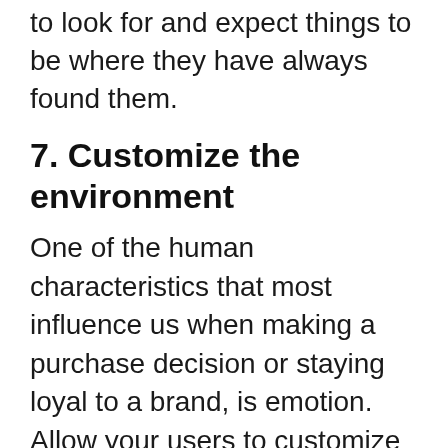to look for and expect things to be where they have always found them.
7. Customize the environment
One of the human characteristics that most influence us when making a purchase decision or staying loyal to a brand, is emotion. Allow your users to customize as much as possible, because this is a powerful tool. That feeling of belonging can keep users loyal for many years.
It’s also important that you allow them to decide the frequencies of contact, use, and modification. No consumer likes to be told